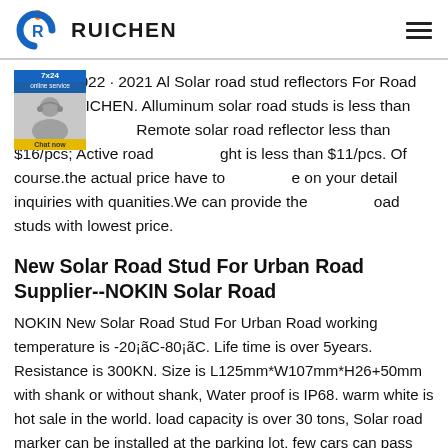RUICHEN
Mar 11, 2022 · 2021 Al Solar road stud reflectors For Road Safety-RUICHEN. Alluminum solar road studs is less than $7/pcs; Remote solar road reflector less than $16/pcs; Active road stud light is less than $11/pcs. Of course.the actual price have to base on your detail inquiries with quanities.We can provide the solar road studs with lowest price.
New Solar Road Stud For Urban Road Supplier--NOKIN Solar Road
NOKIN New Solar Road Stud For Urban Road working temperature is -20¡ãC-80¡ãC. Life time is over 5years. Resistance is 300KN. Size is L125mm*W107mm*H26+50mm with shank or without shank, Water proof is IP68. warm white is hot sale in the world. load capacity is over 30 tons, Solar road marker can be installed at the parking lot, few cars can pass throught.